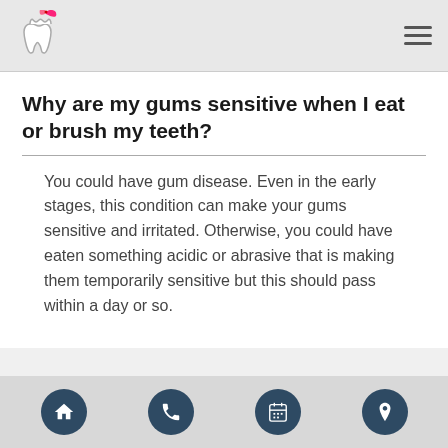Dental health website header with tooth logo and hamburger menu
Why are my gums sensitive when I eat or brush my teeth?
You could have gum disease. Even in the early stages, this condition can make your gums sensitive and irritated. Otherwise, you could have eaten something acidic or abrasive that is making them temporarily sensitive but this should pass within a day or so.
Navigation bar with home, phone, calendar, and location icons